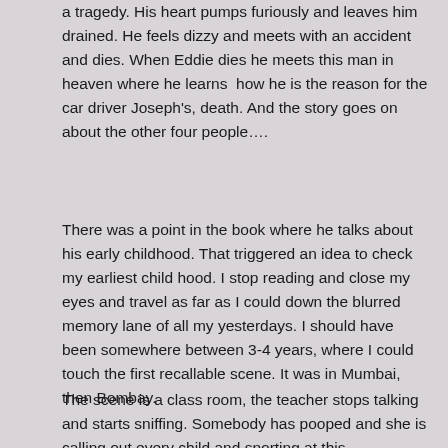a tragedy. His heart pumps furiously and leaves him drained. He feels dizzy and meets with an accident and dies. When Eddie dies he meets this man in heaven where he learns  how he is the reason for the car driver Joseph's, death. And the story goes on about the other four people….
There was a point in the book where he talks about his early childhood. That triggered an idea to check my earliest child hood. I stop reading and close my eyes and travel as far as I could down the blurred memory lane of all my yesterdays. I should have been somewhere between 3-4 years, where I could touch the first recallable scene. It was in Mumbai, then Bombay.
The scene is a class room, the teacher stops talking and starts sniffing. Somebody has pooped and she is calling out every child and snorting at this